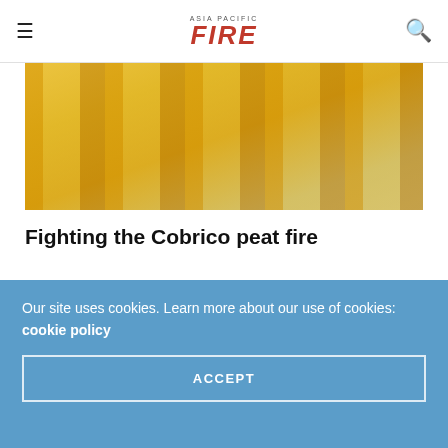ASIA PACIFIC FIRE
[Figure (photo): Aerial or ground view of yellow industrial/airport equipment on a concrete surface]
Fighting the Cobrico peat fire
MDM PUBLISHING LTD – RP – 07/01/2021
When a bushfire tore through Cobrico in Victoria's south-west igniting the peat bog underneath, toxic...
[Figure (other): Second article preview with SAFE AREA watermark text and red circular arc graphic]
Our site uses cookies. Learn more about our use of cookies: cookie policy
ACCEPT